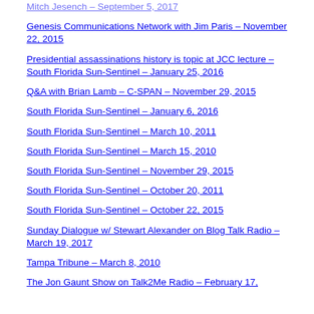Mitch Jesench – September 5, 2017
Genesis Communications Network with Jim Paris – November 22, 2015
Presidential assassinations history is topic at JCC lecture – South Florida Sun-Sentinel – January 25, 2016
Q&A with Brian Lamb – C-SPAN – November 29, 2015
South Florida Sun-Sentinel – January 6, 2016
South Florida Sun-Sentinel – March 10, 2011
South Florida Sun-Sentinel – March 15, 2010
South Florida Sun-Sentinel – November 29, 2015
South Florida Sun-Sentinel – October 20, 2011
South Florida Sun-Sentinel – October 22, 2015
Sunday Dialogue w/ Stewart Alexander on Blog Talk Radio – March 19, 2017
Tampa Tribune – March 8, 2010
The Jon Gaunt Show on Talk2Me Radio – February 17,